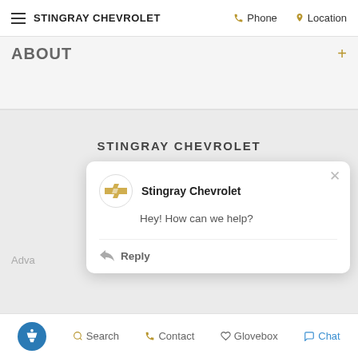STINGRAY CHEVROLET  Phone  Location
ABOUT
STINGRAY CHEVROLET
Stingray Chevrolet
Hey! How can we help?
Reply
Adva
Search  Contact  Glovebox  Chat